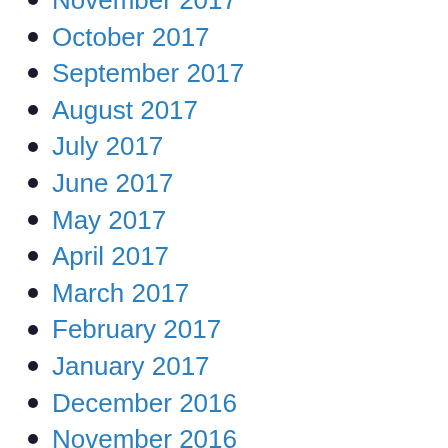November 2017
October 2017
September 2017
August 2017
July 2017
June 2017
May 2017
April 2017
March 2017
February 2017
January 2017
December 2016
November 2016
October 2016
September 2016
August 2016